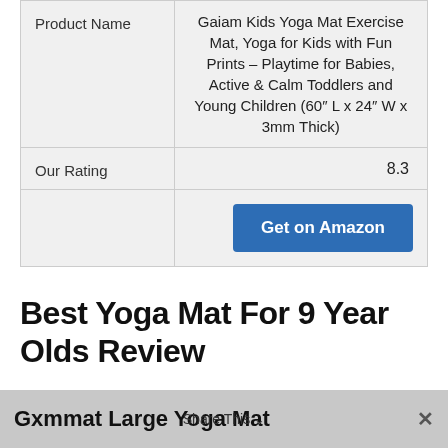|  |  |
| --- | --- |
| Product Name | Gaiam Kids Yoga Mat Exercise Mat, Yoga for Kids with Fun Prints – Playtime for Babies, Active & Calm Toddlers and Young Children (60″ L x 24″ W x 3mm Thick) |
| Our Rating | 8.3 |
|  | Get on Amazon |
Best Yoga Mat For 9 Year Olds Review
Gxmmat Large Yoga Mat 72"x